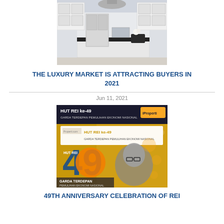[Figure (photo): Photo of a luxury kitchen with white cabinets, black countertops, and stainless steel appliances]
THE LUXURY MARKET IS ATTRACTING BUYERS IN 2021
Jun 11, 2021
[Figure (photo): HUT REI ke-49 promotional banner with the number 49 logo and a person's photo, text: GARDA TERDEPAN PEMULIHAN EKONOMI NASIONAL]
49TH ANNIVERSARY CELEBRATION OF REI